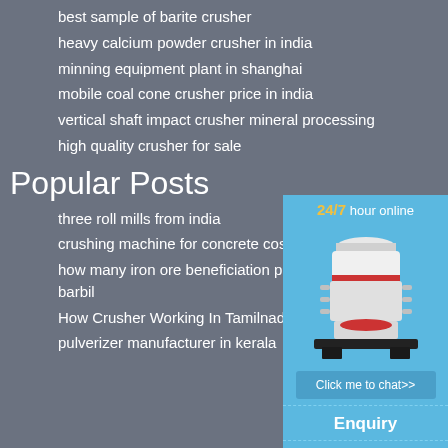best sample of barite crusher
heavy calcium powder crusher in india
minning equipment plant in shanghai
mobile coal cone crusher price in india
vertical shaft impact crusher mineral processing
high quality crusher for sale
Popular Posts
three roll mills from india
crushing machine for concrete cost
how many iron ore beneficiation pla... barbil
How Crusher Working In Tamilnadu
pulverizer manufacturer in kerala
[Figure (infographic): 24/7 hour online widget with a cone crusher image, a blue chat button saying 'Click me to chat>>', an Enquiry section, and limingjlmofen text at bottom]
Click me to chat>>
Enquiry
limingjlmofen